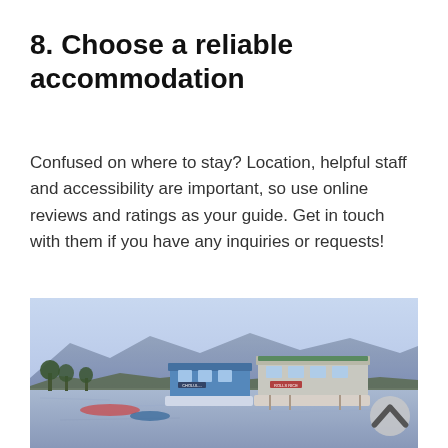8. Choose a reliable accommodation
Confused on where to stay? Location, helpful staff and accessibility are important, so use online reviews and ratings as your guide. Get in touch with them if you have any inquiries or requests!
[Figure (photo): Photograph of houseboats or floating accommodations on a calm lake with mountains in the background, taken at dusk or dawn with a pale blue-purple sky.]